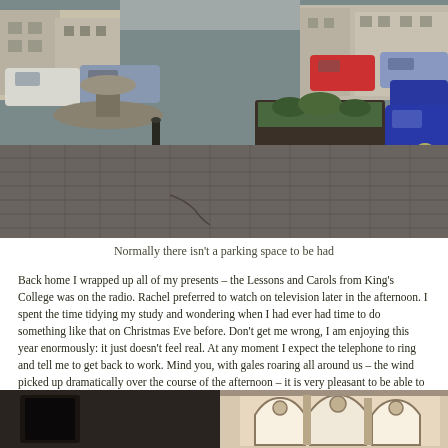[Figure (photo): Town square with cobblestone pavement, a stone monument/fountain on the left, a raised planter box with plants on the right, and various parked cars in the background including a red car and blue cars. Buildings visible in the far background.]
Normally there isn't a parking space to be had
Back home I wrapped up all of my presents – the Lessons and Carols from King's College was on the radio. Rachel preferred to watch on television later in the afternoon. I spent the time tidying my study and wondering when I had ever had time to do something like that on Christmas Eve before. Don't get me wrong, I am enjoying this year enormously: it just doesn't feel real. At any moment I expect the telephone to ring and tell me to get back to work. Mind you, with gales roaring all around us – the wind picked up dramatically over the course of the afternoon – it is very pleasant to be able to stay indoors.
[Figure (photo): Interior of a Gothic church or cathedral showing stone archways and ornate Gothic tracery windows with light coming through, dark stone walls on the left.]